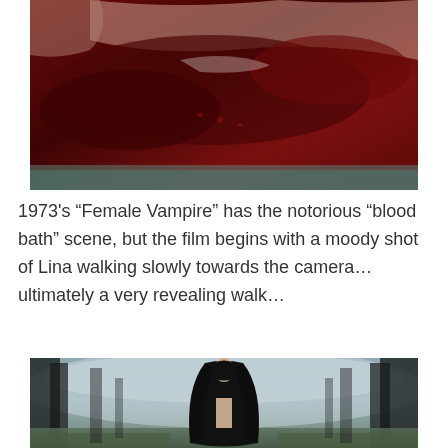[Figure (photo): Close-up photo of a dark red blood-like liquid in what appears to be a bathtub, with a teal/white edge visible at the bottom corner.]
1973's “Female Vampire” has the notorious “blood bath” scene, but the film begins with a moody shot of Lina walking slowly towards the camera…ultimately a very revealing walk…
[Figure (photo): A dark, misty forest scene with a woman in a long black cape walking towards the camera along a foggy path, partially nude.]